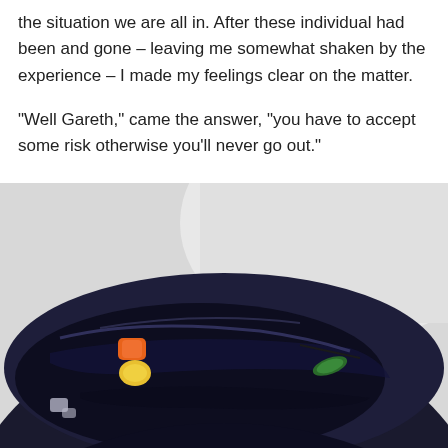the situation we are all in. After these individual had been and gone – leaving me somewhat shaken by the experience – I made my feelings clear on the matter.
“Well Gareth,” came the answer, “you have to accept some risk otherwise you’ll never go out.”
[Figure (photo): Close-up photo of a dark navy/black bowl of soup or broth with visible vegetable pieces including orange carrot, yellow corn, and green vegetable, photographed from above at an angle against a light grey-white background.]